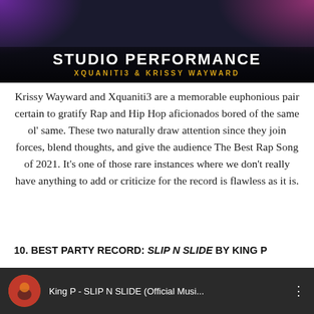[Figure (photo): Studio performance banner image showing 'STUDIO PERFORMANCE' title with 'XQUANITI3 & KRISSY WAYWARD' subtitle on a dark background with purple and pink stage lighting]
Krissy Wayward and Xquaniti3 are a memorable euphonious pair certain to gratify Rap and Hip Hop aficionados bored of the same ol' same. These two naturally draw attention since they join forces, blend thoughts, and give the audience The Best Rap Song of 2021. It's one of those rare instances where we don't really have anything to add or criticize for the record is flawless as it is.
10. BEST PARTY RECORD: SLIP N SLIDE BY KING P
[Figure (screenshot): Video thumbnail showing King P - SLIP N SLIDE (Official Musi... with an avatar of King P on the left and three-dot menu on the right]